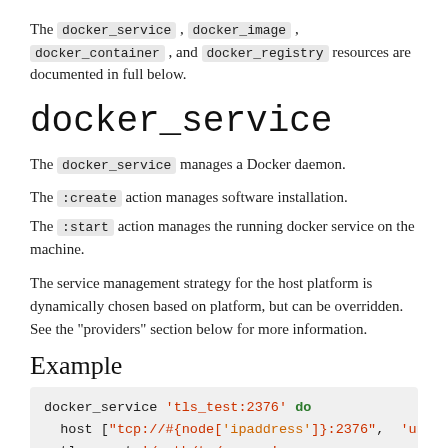The docker_service, docker_image, docker_container, and docker_registry resources are documented in full below.
docker_service
The docker_service manages a Docker daemon.
The :create action manages software installation.
The :start action manages the running docker service on the machine.
The service management strategy for the host platform is dynamically chosen based on platform, but can be overridden. See the "providers" section below for more information.
Example
[Figure (screenshot): Code block showing docker_service example with host, tlscacert, tlscert, tlskey, tlsverify settings]